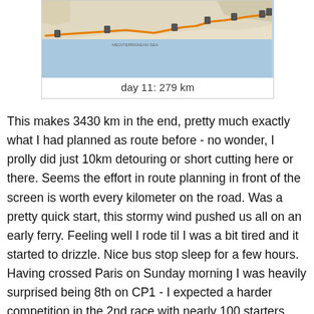[Figure (map): A map showing a cycling route (day 11: 279 km) across southern Europe, with an orange route line and location markers on a light blue/terrain background.]
day 11: 279 km
This makes 3430 km in the end, pretty much exactly what I had planned as route before - no wonder, I prolly did just 10km detouring or short cutting here or there. Seems the effort in route planning in front of the screen is worth every kilometer on the road. Was a pretty quick start, this stormy wind pushed us all on an early ferry. Feeling well I rode til I was a bit tired and it started to drizzle. Nice bus stop sleep for a few hours. Having crossed Paris on Sunday morning I was heavily surprised being 8th on CP1 - I expected a harder competition in the 2nd race with nearly 100 starters. Two nice days with not much trouble, a bit rain, but what else than riding should one do in such a weather? Shittiest day was in the Alps, not my terrain and maybe a bit crazy to do 3 big passes in one day, plus the punctured while climbing the Stelvio. Anyhow, I could recover quite nicely on the following two days heading south in Italy, followed by a nice and relaxing ferry ride. It was a little bit of a touristic ride, having